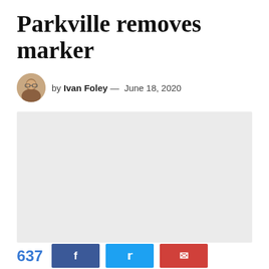Parkville removes marker
by Ivan Foley — June 18, 2020
[Figure (photo): Light gray placeholder image representing a photo of a sign in Parkville referencing a 'slave market' in the city's past.]
City officials say complaints had been received about this sign, which references a 'slave market' in Parkville's past.
637